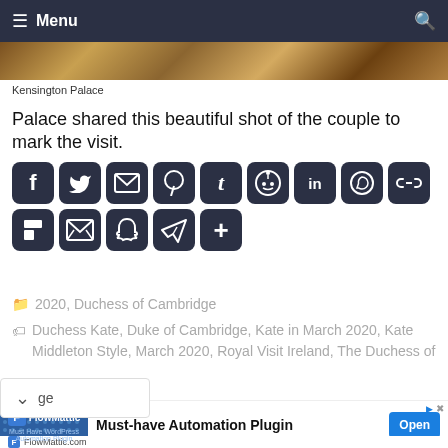Menu
[Figure (photo): Partial photo strip of Kensington Palace scene]
Kensington Palace
Palace shared this beautiful shot of the couple to mark the visit.
[Figure (infographic): Social media share buttons: Facebook, Twitter, Email, Pinterest, Tumblr, Reddit, LinkedIn, WhatsApp, Link, Flipboard, Gmail, Snapchat, Telegram, More]
2020, Duchess of Cambridge
Duchess Kate, Duke of Cambridge, Kate in March 2020, Kate Middleton Style, March 2020, Royal Visit Ireland, The Duchess of Cambridge
[Figure (infographic): FlowMattic advertisement: Must-have Automation Plugin with Open button]